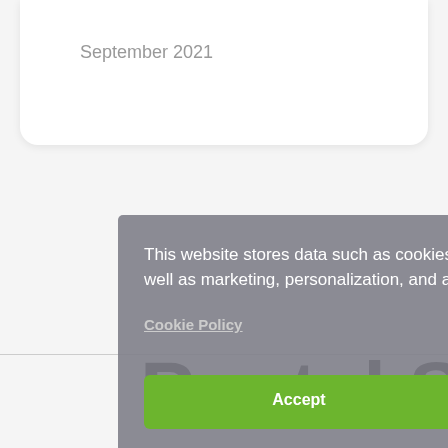September 2021
[Figure (screenshot): Cookie consent modal overlay with gray background. Contains message about website data storage, a Cookie Policy link, and two buttons: Accept (green) and Deny (muted purple).]
Postal Services?
Speak to us today, to see how we